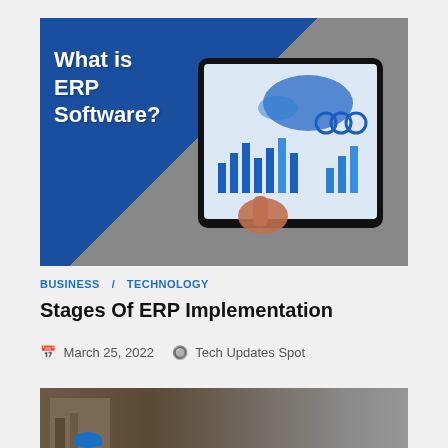[Figure (photo): Blog article thumbnail image showing a tablet displaying ERP software dashboards with the text 'What is ERP Software?' overlaid on a blue background, with a hand pointing at the tablet screen.]
BUSINESS   TECHNOLOGY
Stages Of ERP Implementation
March 25, 2022   Tech Updates Spot
[Figure (photo): Partial thumbnail of a second article, showing a construction or engineering scene with a blue helmet visible at bottom.]